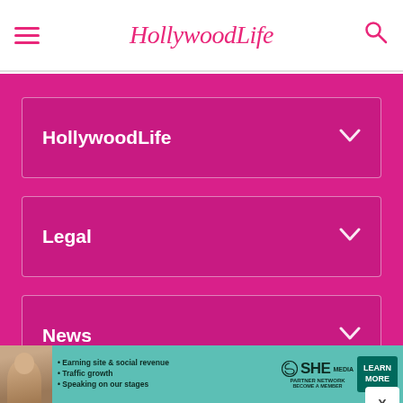HollywoodLife
HollywoodLife
Legal
News
Connect
[Figure (screenshot): Advertisement banner for SHE Media Partner Network featuring a woman's photo, bullet points: Earning site & social revenue, Traffic growth, Speaking on our stages, with SHE Partner Network logo and LEARN MORE button]